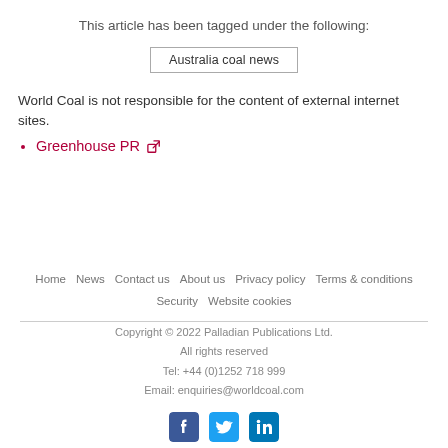This article has been tagged under the following:
Australia coal news
World Coal is not responsible for the content of external internet sites.
Greenhouse PR ↗
Home  News  Contact us  About us  Privacy policy  Terms & conditions  Security  Website cookies
Copyright © 2022 Palladian Publications Ltd.
All rights reserved
Tel: +44 (0)1252 718 999
Email: enquiries@worldcoal.com